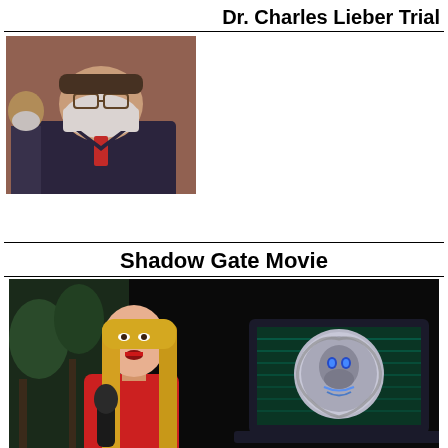Dr. Charles Lieber Trial
[Figure (photo): Man wearing a white face mask and glasses walking outdoors, wearing a dark jacket with a red tie visible, others in background also masked]
Shadow Gate Movie
[Figure (photo): Woman with long blonde hair wearing a red dress holding a microphone, standing in front of a dark background showing a laptop with a coin/medallion featuring a skull design and the text 'SHADOW GATE']